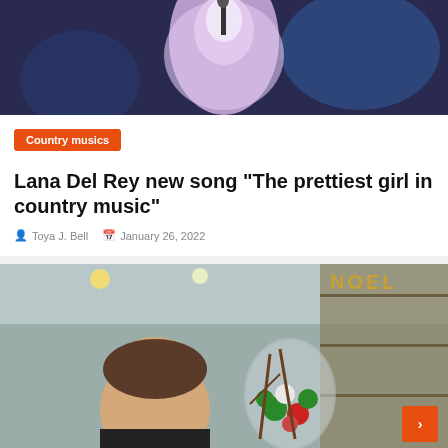[Figure (photo): Concert photo of performer in pink/white lacy outfit holding a microphone on stage with blue lighting in background]
Country musics
Lana Del Rey new song “The prettiest girl in country music”
Toya J. Bell   January 26, 2022
[Figure (photo): Photo of a woman smiling in what appears to be a decorated shop with Christmas ornaments in a glass dome and NOEL text in the background]